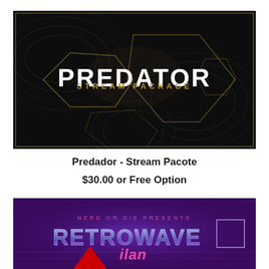[Figure (illustration): Predator Stream Package promotional banner — dark background with topographic contour lines, large hexagonal geometric shapes in gold/amber outlines, large white bold text 'PREDATOR' and gold 'STREAM PACKAGE' subtitle]
Predador - Stream Pacote
$30.00 or Free Option
[Figure (illustration): Retrowave stream package promotional banner — purple/violet gradient background, small pink text 'NERD OR DIE PRESENTS', large chrome/metallic stylized text 'RETROWAVE', pink/magenta neon italic text, red play button arrow, small square outline on right side]